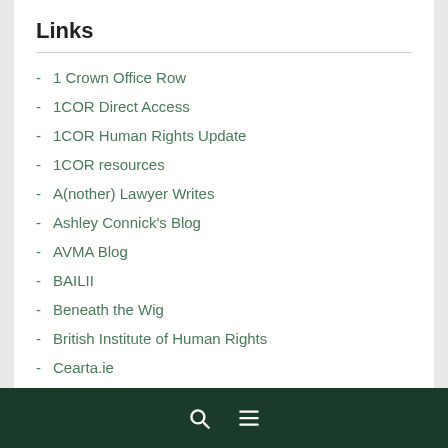Links
1 Crown Office Row
1COR Direct Access
1COR Human Rights Update
1COR resources
A(nother) Lawyer Writes
Ashley Connick's Blog
AVMA Blog
BAILII
Beneath the Wig
British Institute of Human Rights
Cearta.ie
Charon QC
David Allen Green